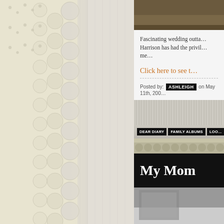[Figure (photo): Left panel showing a close-up of cream/ivory lace fabric with scalloped eyelet pattern on white textile background]
[Figure (photo): Top right strip showing a brown/tan colored vintage photograph or album cover]
Fascinating wedding outta… Harrison has had the privil… me…
Click here to see t…
Posted by: ASHLEIGH on May 11th, 200…
[Figure (photo): Striped/pleated fabric or album section with category navigation tags DEAR DIARY, FAMILY ALBUMS, LOO… and a lace strip below]
My Mom
[Figure (photo): Black and white vintage photograph partially visible at bottom]